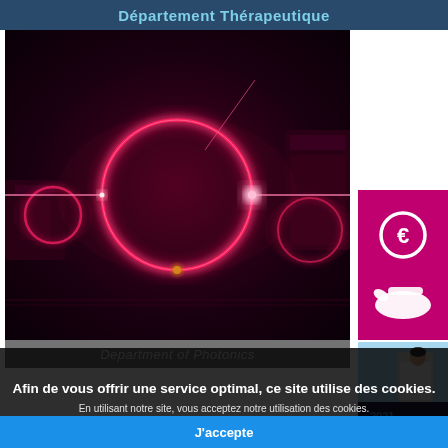Département Thérapeutique
[Figure (photo): Photonics laboratory photo showing a laser ring cavity with bright pink/magenta laser beams and optical components on a dark background]
[Figure (illustration): Pink banner with white euro coin and hand icon representing funding or grants]
[Figure (photo): Small thumbnail showing a 2021 annual report cover with a scientist in a laboratory]
Department of Photonics
Afin de vous offrir une service optimal, ce site utilise des cookies.
En utilisant notre site, vous acceptez notre utilisation des cookies.
J'accepte